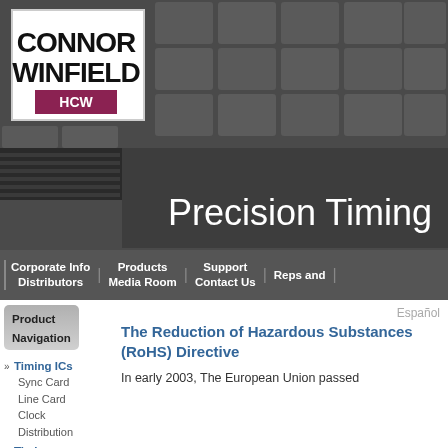[Figure (logo): Connor Winfield logo with company name in bold black text and a stylized ECG/waveform icon on a maroon background]
Precision Timing
Corporate Info | Products | Support | Reps and Distributors | Media Room | Contact Us
Product Navigation
Timing ICs
Sync Card
Line Card
Clock Distribution
Timing Modules
Sync Card
Line Card
Timing
Español
The Reduction of Hazardous Substances (RoHS) Directive
In early 2003, The European Union passed